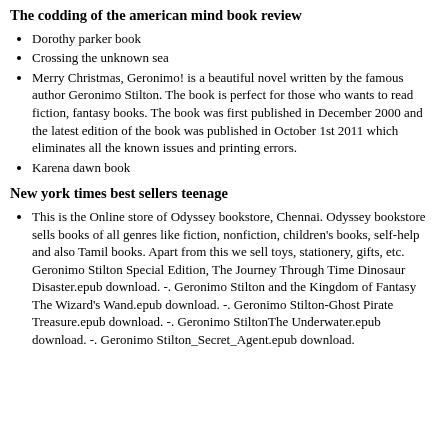The codding of the american mind book review
Dorothy parker book
Crossing the unknown sea
Merry Christmas, Geronimo! is a beautiful novel written by the famous author Geronimo Stilton. The book is perfect for those who wants to read fiction, fantasy books. The book was first published in December 2000 and the latest edition of the book was published in October 1st 2011 which eliminates all the known issues and printing errors.
Karena dawn book
New york times best sellers teenage
This is the Online store of Odyssey bookstore, Chennai. Odyssey bookstore sells books of all genres like fiction, nonfiction, children's books, self-help and also Tamil books. Apart from this we sell toys, stationery, gifts, etc. Geronimo Stilton Special Edition, The Journey Through Time Dinosaur Disaster.epub download. -. Geronimo Stilton and the Kingdom of Fantasy The Wizard's Wand.epub download. -. Geronimo Stilton-Ghost Pirate Treasure.epub download. -. Geronimo StiltonThe Underwater.epub download. -. Geronimo Stilton_Secret_Agent.epub download.